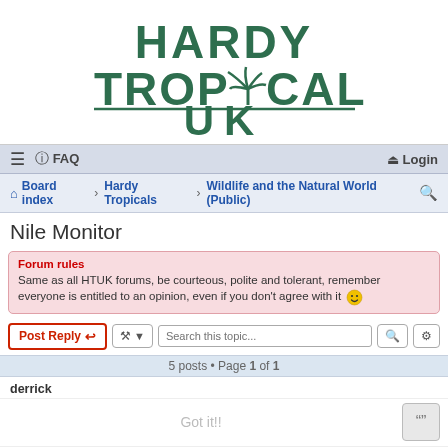[Figure (logo): Hardy Tropicals UK logo with palm tree icon replacing letter O in TROPICALS, dark green text on white background]
≡  FAQ  Login
Board index › Hardy Tropicals › Wildlife and the Natural World (Public) 🔍
Nile Monitor
Forum rules
Same as all HTUK forums, be courteous, polite and tolerant, remember everyone is entitled to an opinion, even if you don't agree with it 🙂
Post Reply  [tools]  Search this topic...  [search] [advanced]
5 posts • Page 1 of 1
derrick
Got it!!
Nile Monitor
Sat Aug 17, 2013 10:27 pm